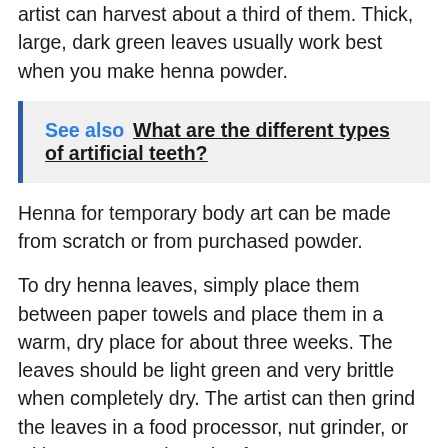artist can harvest about a third of them. Thick, large, dark green leaves usually work best when you make henna powder.
See also  What are the different types of artificial teeth?
Henna for temporary body art can be made from scratch or from purchased powder.
To dry henna leaves, simply place them between paper towels and place them in a warm, dry place for about three weeks. The leaves should be light green and very brittle when completely dry. The artist can then grind the leaves in a food processor, nut grinder, or with a mortar and pestle. If none